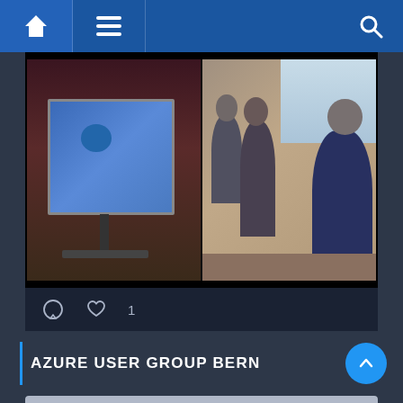[Figure (screenshot): Website navigation bar with home icon, hamburger menu, and search icon on blue background]
[Figure (photo): Two photos side by side: left shows a presentation screen in a dark room, right shows people seated at a user group meeting]
♡ 1
[Figure (screenshot): Twitter embed widget with 'View more on Twitter' button and privacy notice]
View more on Twitter
ⓘ Learn more about privacy on Twitter
AZURE USER GROUP BERN